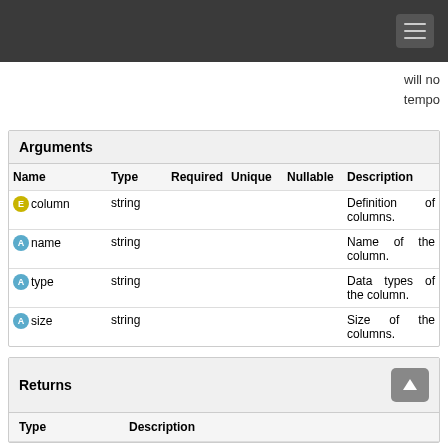will no tempo
| Name | Type | Required | Unique | Nullable | Description |
| --- | --- | --- | --- | --- | --- |
| E column | string |  |  |  | Definition of columns. |
| A name | string |  |  |  | Name of the column. |
| A type | string |  |  |  | Data types of the column. |
| A size | string |  |  |  | Size of the columns. |
Returns
| Type | Description |
| --- | --- |